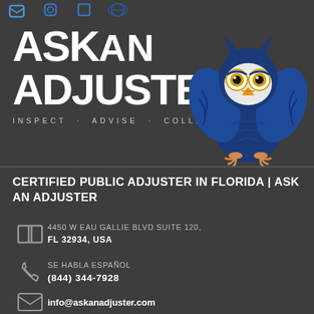[Figure (logo): Ask An Adjuster logo with blue owl mascot. Large white text 'ASK AN ADJUSTER' with registered trademark symbol, tagline 'INSPECT · ADVISE · COLLECT', and blue cartoon owl on right.]
CERTIFIED PUBLIC ADJUSTER IN FLORIDA | ASK AN ADJUSTER
4450 W EAU GALLIE BLVD SUITE 120, FL 32934, USA
SE HABLA ESPAÑOL
(844) 344-7928
info@askanadjuster.com